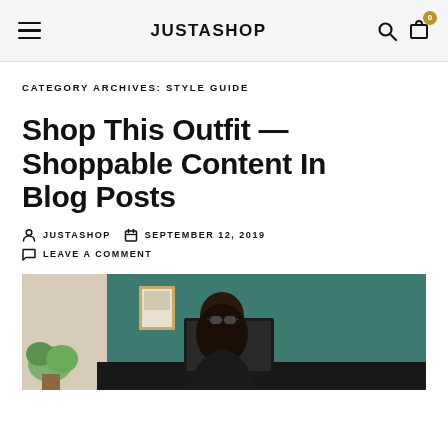JUSTASHOP
CATEGORY ARCHIVES: STYLE GUIDE
Shop This Outfit — Shoppable Content In Blog Posts
JUSTASHOP   SEPTEMBER 12, 2019   LEAVE A COMMENT
[Figure (photo): A woman with long dark hair and sunglasses sitting at a dark desk with a laptop, against a teal/green wall with a framed picture and a plant on the left side.]